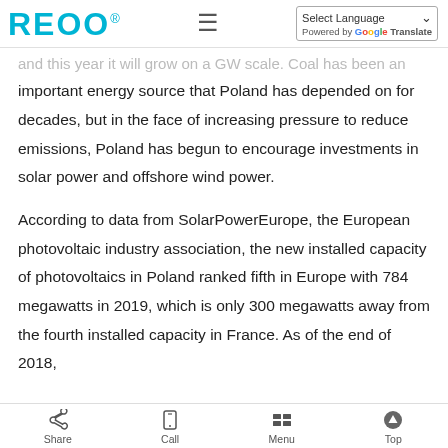REOO® [hamburger menu] Select Language ▾ Powered by Google Translate
and this year it will grow on a GW scale. Coal has been an important energy source that Poland has depended on for decades, but in the face of increasing pressure to reduce emissions, Poland has begun to encourage investments in solar power and offshore wind power.
According to data from SolarPowerEurope, the European photovoltaic industry association, the new installed capacity of photovoltaics in Poland ranked fifth in Europe with 784 megawatts in 2019, which is only 300 megawatts away from the fourth installed capacity in France. As of the end of 2018,
Share  Call  Menu  Top